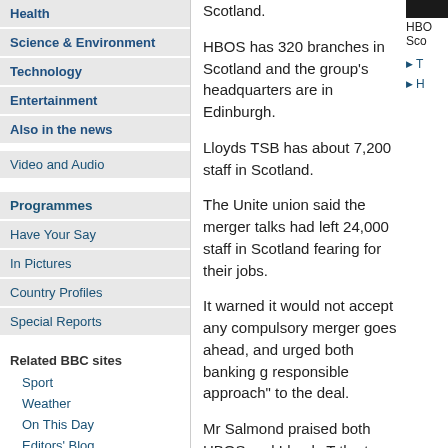Health
Science & Environment
Technology
Entertainment
Also in the news
Video and Audio
Programmes
Have Your Say
In Pictures
Country Profiles
Special Reports
Related BBC sites
Sport
Weather
On This Day
Editors' Blog
BBC World Service
Scotland.
HBOS has 320 branches in Scotland and the group's headquarters are in Edinburgh.
Lloyds TSB has about 7,200 staff in Scotland.
The Unite union said the merger talks had left 24,000 staff in Scotland fearing for their jobs.
It warned it would not accept any compulsory merger goes ahead, and urged both banking g responsible approach" to the deal.
Mr Salmond praised both HBOS and Lloyds T the two should be based on measured discus driven by unwarranted speculation.
And he accused financial regulators the Financial Services Authority of leaving HBOS vulnerable to speculative attack by failing to act despite finding the banking giant was properly funded and had a good capital ratio.